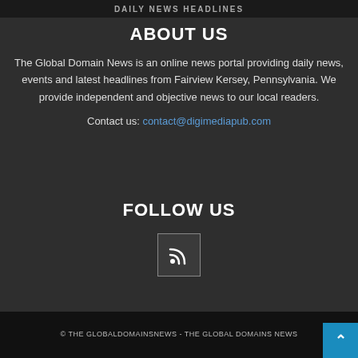DAILY NEWS HEADLINES
ABOUT US
The Global Domain News is an online news portal providing daily news, events and latest headlines from Fairview Kersey, Pennsylvania. We provide independent and objective news to our local readers.
Contact us: contact@digimediapub.com
FOLLOW US
[Figure (other): RSS feed icon inside a bordered square box]
© THE GLOBALDOMAINSNEWS - THE GLOBAL DOMAINS NEWS